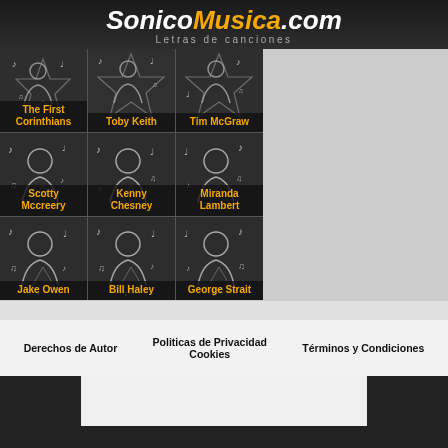SonicoMusica.com — Letras de canciones
[Figure (other): 3x3 grid of music artist thumbnails with silhouette avatars and yellow artist names: The First Corinthians, Toby Keith, Tim McGraw, Scotty Mccreery, Kenny Chesney, Miranda Lambert, Jake Owen, Bill Haley, George Strait]
Derechos de Autor | Politicas de Privacidad Cookies | Términos y Condiciones